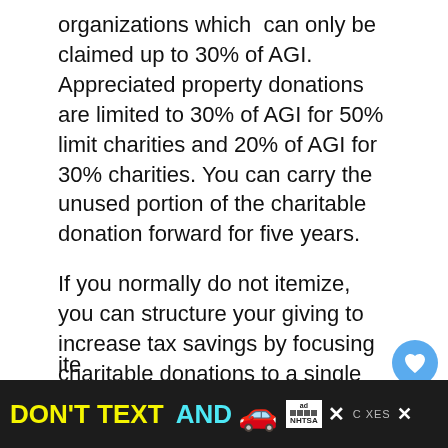organizations which can only be claimed up to 30% of AGI. Appreciated property donations are limited to 30% of AGI for 50% limit charities and 20% of AGI for 30% charities. You can carry the unused portion of the charitable donation forward for five years.
If you normally do not itemize, you can structure your giving to increase tax savings by focusing charitable donations to a single tax year. Clumping your donations into a single year can help you reach the itemizing level. The savings provide additional cash to donate. Extraordinary items on Schedule A causing you to itemize...
[Figure (screenshot): Ad banner at bottom: dark background with 'DON'T TEXT AND' in yellow/cyan, red car emoji, NHTSA ad badge, close buttons and partial right-side content.]